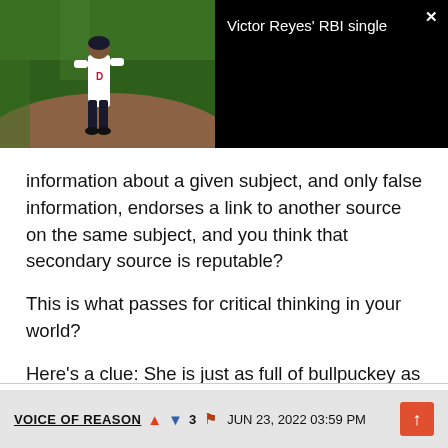[Figure (screenshot): Video thumbnail showing a baseball player on a field (Detroit Tigers), with black background area and title 'Victor Reyes' RBI single' and a close button X in the top right.]
information about a given subject, and only false information, endorses a link to another source on the same subject, and you think that secondary source is reputable?

This is what passes for critical thinking in your world?

Here's a clue: She is just as full of bullpuckey as he is.
VOICE OF REASON  ▲  ▼3  ⚑  JUN 23, 2022 03:59 PM